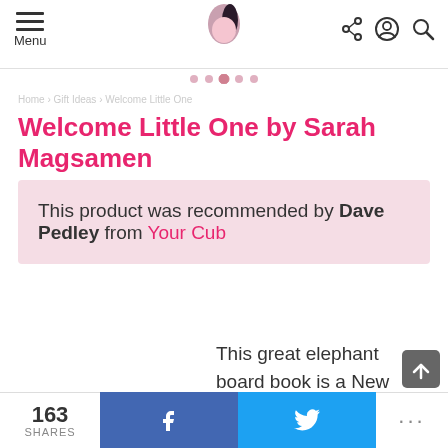Menu | [logo] | share/account/search icons
Welcome Little One by Sarah Magsamen
This product was recommended by Dave Pedley from Your Cub
This great elephant board book is a New York Bestseller and is perfect for newborns. It has rhyming text, lively
163 SHARES | f | [twitter bird] | ...